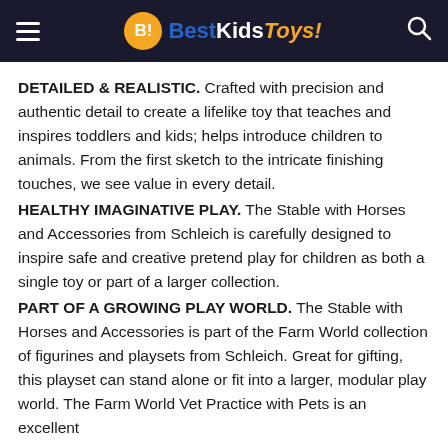BestKidsToys!
DETAILED & REALISTIC. Crafted with precision and authentic detail to create a lifelike toy that teaches and inspires toddlers and kids; helps introduce children to animals. From the first sketch to the intricate finishing touches, we see value in every detail.
HEALTHY IMAGINATIVE PLAY. The Stable with Horses and Accessories from Schleich is carefully designed to inspire safe and creative pretend play for children as both a single toy or part of a larger collection.
PART OF A GROWING PLAY WORLD. The Stable with Horses and Accessories is part of the Farm World collection of figurines and playsets from Schleich. Great for gifting, this playset can stand alone or fit into a larger, modular play world. The Farm World Vet Practice with Pets is an excellent